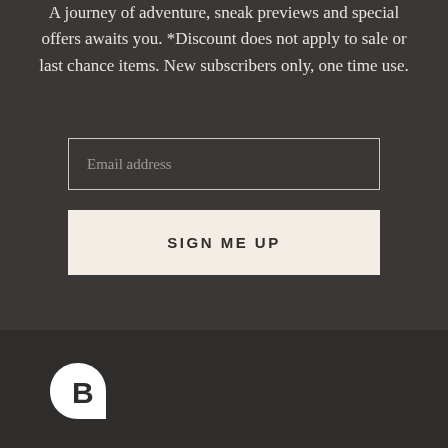A journey of adventure, sneak previews and special offers awaits you. *Discount does not apply to sale or last chance items. New subscribers only, one time use.
Email address
SIGN ME UP
[Figure (logo): White stylized letter B logo on dark background]